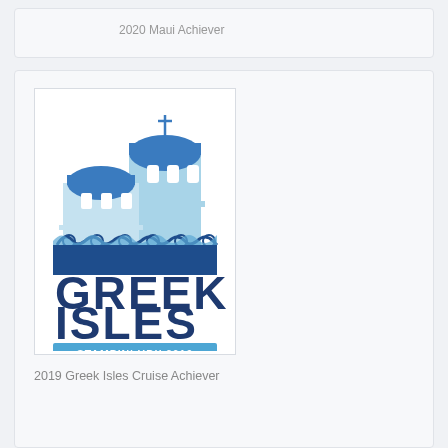2020 Maui Achiever
[Figure (logo): Greek Isles Stampin' Up! 2019 logo featuring blue-domed Greek island buildings and stylized waves with text GREEK ISLES STAMPIN' UP!' 2019]
2019 Greek Isles Cruise Achiever